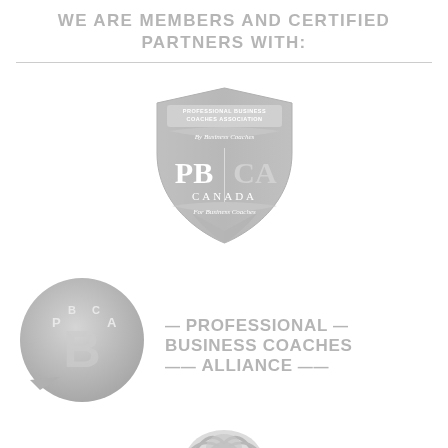WE ARE MEMBERS AND CERTIFIED PARTNERS WITH:
[Figure (logo): PBCA Canada shield logo — Professional Business Coaches Association, By Business Coaches, PBCA Canada, For Business Coaches — grayscale shield emblem]
[Figure (logo): PBCA Professional Business Coaches Alliance logo — circular chat bubble icon with P, B, C, A letters and text: PROFESSIONAL BUSINESS COACHES ALLIANCE — grayscale]
[Figure (logo): Partial third logo at bottom — grayscale animal/eagle emblem, partially visible]